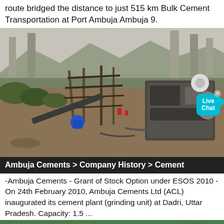route bridged the distance to just 515 km Bulk Cement Transportation at Port Ambuja Ambuja 9.
[Figure (photo): Industrial cement grinding machinery and equipment at a construction or mining site, with bridge pillars and hilly terrain visible in the background. A 'Live Chat' button overlay appears in the top right of the image.]
Ambuja Cements > Company History > Cement
-Ambuja Cements - Grant of Stock Option under ESOS 2010 - On 24th February 2010, Ambuja Cements Ltd (ACL) inaugurated its cement plant (grinding unit) at Dadri, Uttar Pradesh. Capacity: 1.5 ...
[Figure (photo): Partial view of a green forested area, bottom of the page.]